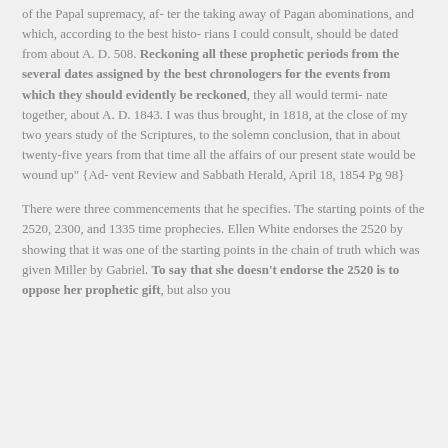of the Papal supremacy, af- ter the taking away of Pagan abominations, and which, according to the best histo- rians I could consult, should be dated from about A. D. 508. Reckoning all these prophetic periods from the several dates assigned by the best chronologers for the events from which they should evidently be reckoned, they all would termi- nate together, about A. D. 1843. I was thus brought, in 1818, at the close of my two years study of the Scriptures, to the solemn conclusion, that in about twenty-five years from that time all the affairs of our present state would be wound up" {Ad- vent Review and Sabbath Herald, April 18, 1854 Pg 98}
There were three commencements that he specifies. The starting points of the 2520, 2300, and 1335 time prophecies. Ellen White endorses the 2520 by showing that it was one of the starting points in the chain of truth which was given Miller by Gabriel. To say that she doesn't endorse the 2520 is to oppose her prophetic gift, but also you